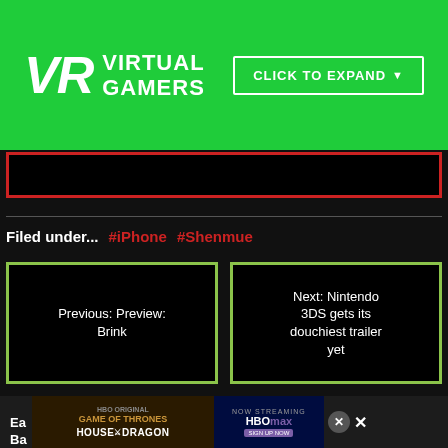VR VIRTUAL GAMERS | CLICK TO EXPAND
[Figure (other): Black rectangle with red border below header]
Filed under... #iPhone #Shenmue
Previous: Preview: Brink
Next: Nintendo 3DS gets its douchiest trailer yet
[Figure (screenshot): HBO Original Game of Thrones House of the Dragon - Now Streaming on HBOmax advertisement banner with close button]